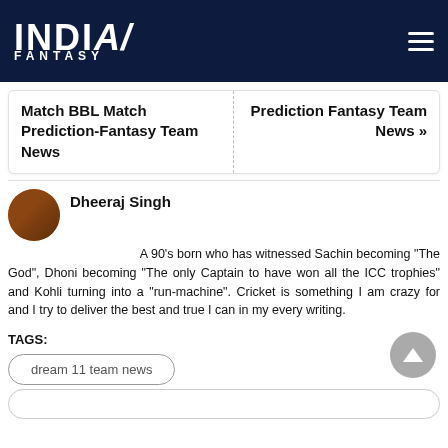INDIA FANTASY
Match BBL Match Prediction-Fantasy Team News
Prediction Fantasy Team News »
Dheeraj Singh
A 90's born who has witnessed Sachin becoming "The God", Dhoni becoming "The only Captain to have won all the ICC trophies" and Kohli turning into a "run-machine". Cricket is something I am crazy for and I try to deliver the best and true I can in my every writing.
TAGS:
dream 11 team news